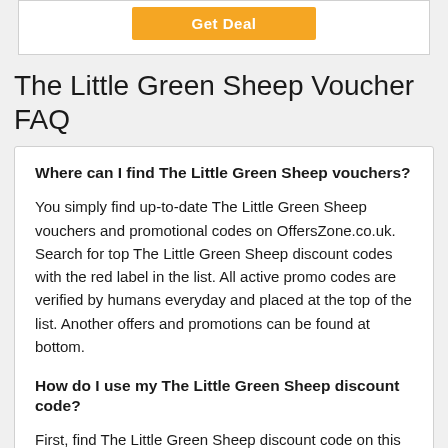[Figure (other): Orange 'Get Deal' button on white background panel]
The Little Green Sheep Voucher FAQ
Where can I find The Little Green Sheep vouchers?
You simply find up-to-date The Little Green Sheep vouchers and promotional codes on OffersZone.co.uk. Search for top The Little Green Sheep discount codes with the red label in the list. All active promo codes are verified by humans everyday and placed at the top of the list. Another offers and promotions can be found at bottom.
How do I use my The Little Green Sheep discount code?
First, find The Little Green Sheep discount code on this page and then click the code to copy it to your clipboard. Next, open The Little Green Sheep's website at thelittlegreensheep.co.uk and paste your code in the “Discount Code” box during checkout. You will see a confirmation message of your